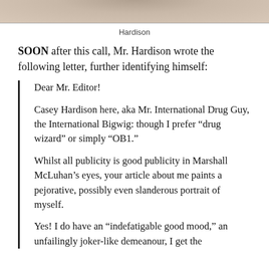[Figure (photo): Top portion of a photo of Hardison, showing partial face/shoulders, cropped at top of page]
Hardison
SOON after this call, Mr. Hardison wrote the following letter, further identifying himself:
Dear Mr. Editor!

Casey Hardison here, aka Mr. International Drug Guy, the International Bigwig: though I prefer “drug wizard” or simply “OB1.”

Whilst all publicity is good publicity in Marshall McLuhan’s eyes, your article about me paints a pejorative, possibly even slanderous portrait of myself.

Yes! I do have an “indefatigable good mood,” an unfailingly joker-like demeanour, I get the